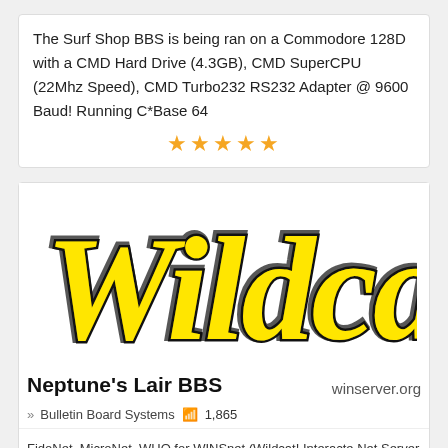The Surf Shop BBS is being ran on a Commodore 128D with a CMD Hard Drive (4.3GB), CMD SuperCPU (22Mhz Speed), CMD Turbo232 RS232 Adapter @ 9600 Baud! Running C*Base 64
[Figure (infographic): Five gold/orange star rating icons displayed in a row]
[Figure (logo): Wildcat! BBS logo in yellow and black stylized script lettering]
Neptune's Lair BBS
winserver.org
» Bulletin Board Systems 1,865
FidoNet, MicroNet, WHQ for WINSnet (Wildcat! Interacte Net Server Support Network), DixieNet, DoveNet, ILink, more!